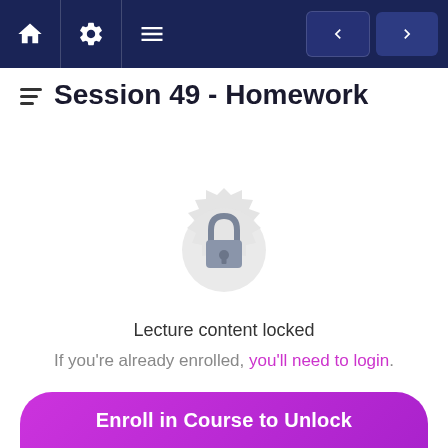Navigation bar with home, settings, menu, back and forward arrows
Session 49 - Homework
[Figure (illustration): Lock icon inside a decorative circular badge/seal shape, colored in light gray, indicating locked content]
Lecture content locked
If you're already enrolled, you'll need to login.
Enroll in Course to Unlock